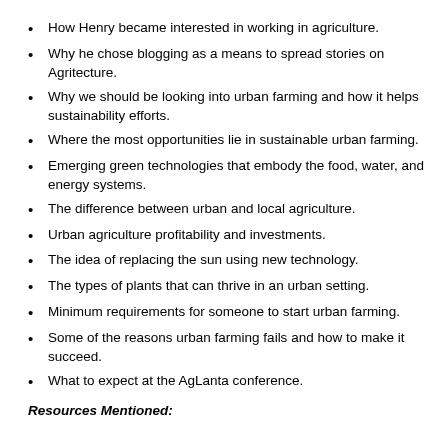How Henry became interested in working in agriculture.
Why he chose blogging as a means to spread stories on Agritecture.
Why we should be looking into urban farming and how it helps sustainability efforts.
Where the most opportunities lie in sustainable urban farming.
Emerging green technologies that embody the food, water, and energy systems.
The difference between urban and local agriculture.
Urban agriculture profitability and investments.
The idea of replacing the sun using new technology.
The types of plants that can thrive in an urban setting.
Minimum requirements for someone to start urban farming.
Some of the reasons urban farming fails and how to make it succeed.
What to expect at the AgLanta conference.
Resources Mentioned: